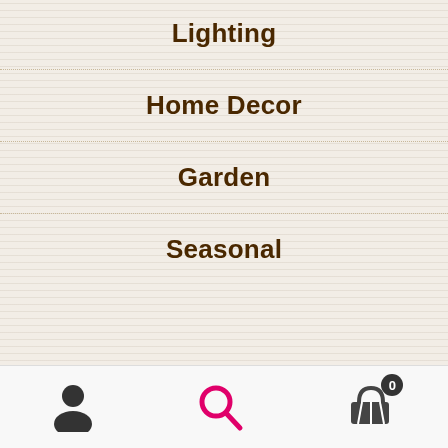Lighting
Home Decor
Garden
Seasonal
Contact
Just Like Wendy's
Sparrows Hill Livery,
Sparrows End,
Newport,
User icon | Search icon | Cart (0)